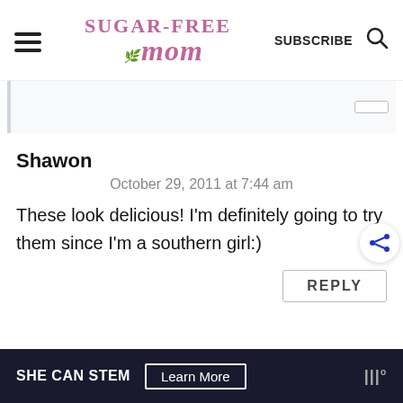Sugar-Free Mom | SUBSCRIBE
Shawon
October 29, 2011 at 7:44 am
These look delicious! I'm definitely going to try them since I'm a southern girl:)
REPLY
SHE CAN STEM  Learn More